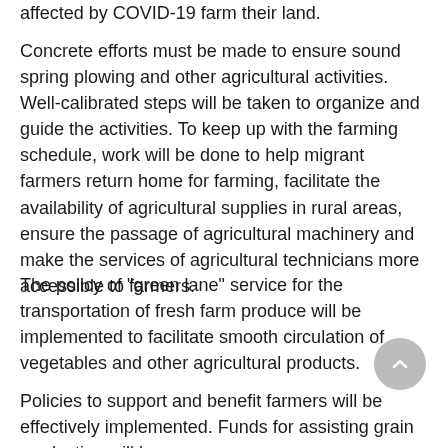affected by COVID-19 farm their land.
Concrete efforts must be made to ensure sound spring plowing and other agricultural activities. Well-calibrated steps will be taken to organize and guide the activities. To keep up with the farming schedule, work will be done to help migrant farmers return home for farming, facilitate the availability of agricultural supplies in rural areas, ensure the passage of agricultural machinery and make the services of agricultural technicians more accessible to farmers.
The policy of "green lane" service for the transportation of fresh farm produce will be implemented to facilitate smooth circulation of vegetables and other agricultural products.
Policies to support and benefit farmers will be effectively implemented. Funds for assisting grain production will be